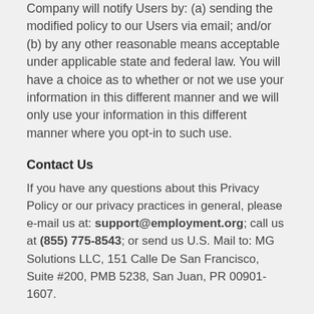Company will notify Users by: (a) sending the modified policy to our Users via email; and/or (b) by any other reasonable means acceptable under applicable state and federal law. You will have a choice as to whether or not we use your information in this different manner and we will only use your information in this different manner where you opt-in to such use.
Contact Us
If you have any questions about this Privacy Policy or our privacy practices in general, please e-mail us at: support@employment.org; call us at (855) 775-8543; or send us U.S. Mail to: MG Solutions LLC, 151 Calle De San Francisco, Suite #200, PMB 5238, San Juan, PR 00901-1607.
Privacy Provisions for California Residents
These Privacy Provisions for California Residents